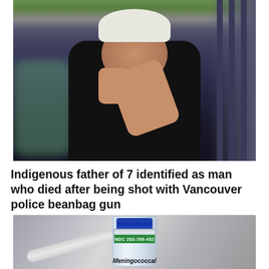[Figure (photo): Photo of an Indigenous man wearing a white cap and dark shirt, making a peace sign with his hand. He has a tattoo on his forearm and is wearing a chain necklace. Background shows a building with railings and trees.]
Indigenous father of 7 identified as man who died after being shot with Vancouver police beanbag gun
[Figure (photo): Close-up photo of a medical vial with a blue cap and green label reading 'NDC 203-789-452', with 'Meningococcal' text at the bottom. A syringe is visible in the blurred background.]